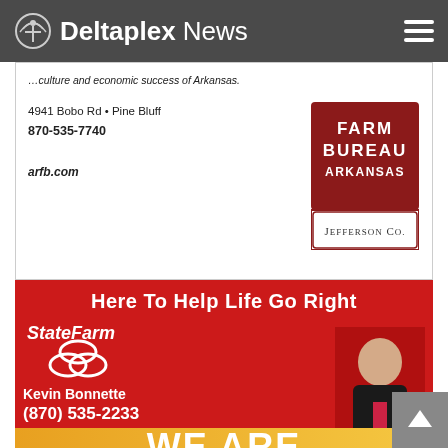Deltaplex News
[Figure (photo): Farm Bureau Arkansas - Jefferson Co. advertisement with address 4941 Bobo Rd, Pine Bluff, phone 870-535-7740, website arfb.com, and Farm Bureau logo]
[Figure (photo): State Farm insurance advertisement featuring Kevin Bonnette, phone (870) 535-2233, Home or Life Insurance Quote, red background with agent photo and State Farm logo. Headline: Here To Help Life Go Right. Button: Click Here For Free Quote]
[Figure (photo): Bottom banner with text WE ARE on orange-yellow gradient background]